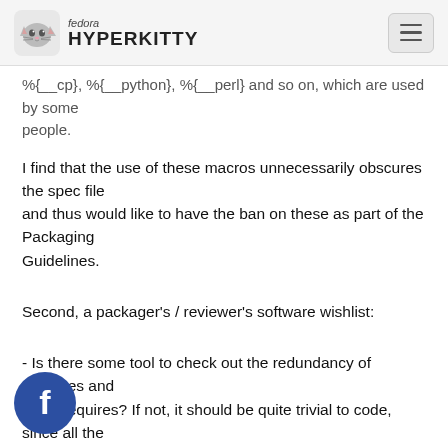fedora HYPERKITTY
%{__cp}, %{__python}, %{__perl} and so on, which are used by some people.
I find that the use of these macros unnecessarily obscures the spec file and thus would like to have the ban on these as part of the Packaging Guidelines.
Second, a packager's / reviewer's software wishlist:
- Is there some tool to check out the redundancy of Requires and BuildRequires? If not, it should be quite trivial to code, since all the tool would need to do is pull the full requirement tree for each R and BR and crosscheck whether there is overlap.